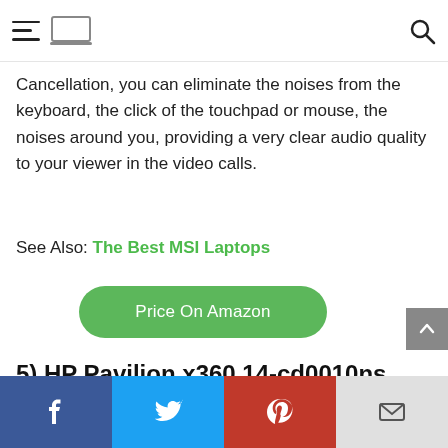[Navigation bar with hamburger menu, laptop logo, and search icon]
Cancellation, you can eliminate the noises from the keyboard, the click of the touchpad or mouse, the noises around you, providing a very clear audio quality to your viewer in the video calls.
See Also: The Best MSI Laptops
[Figure (other): Green rounded button with text 'Price On Amazon']
5) HP Pavilion x360 14-cd0010ns
Social sharing bar: Facebook, Twitter, Pinterest, Email